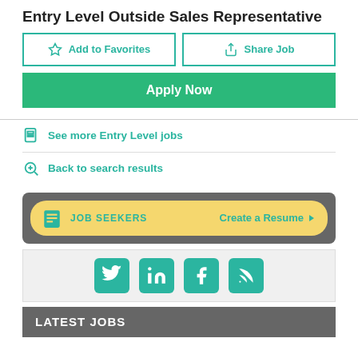Entry Level Outside Sales Representative
[Figure (screenshot): Add to Favorites and Share Job buttons]
[Figure (screenshot): Apply Now green button]
See more Entry Level jobs
Back to search results
[Figure (screenshot): JOB SEEKERS - Create a Resume banner in yellow with teal icon]
[Figure (screenshot): Social media icons: Twitter, LinkedIn, Facebook, RSS feed]
LATEST JOBS